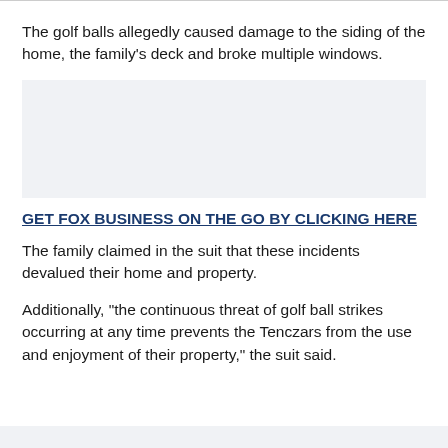The golf balls allegedly caused damage to the siding of the home, the family's deck and broke multiple windows.
[Figure (other): Advertisement placeholder box with light gray background]
GET FOX BUSINESS ON THE GO BY CLICKING HERE
The family claimed in the suit that these incidents devalued their home and property.
Additionally, "the continuous threat of golf ball strikes occurring at any time prevents the Tenczars from the use and enjoyment of their property," the suit said.
[Figure (other): Advertisement placeholder box with light gray background at bottom]